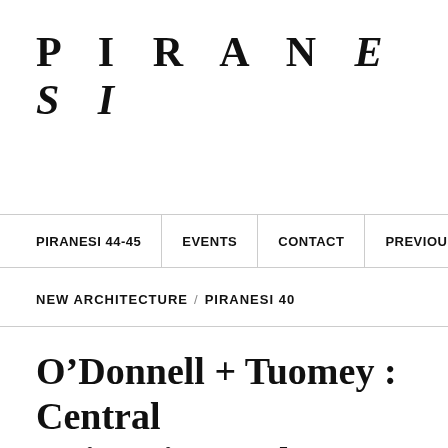PIRANESI
PIRANESI 44-45 | EVENTS | CONTACT | PREVIOUS ISSUES
NEW ARCHITECTURE / PIRANESI 40
O’Donnell + Tuomey : Central University, Budapest, Hungary
by EMIEL LAMERS on Dec 19, 2018 • 19:31